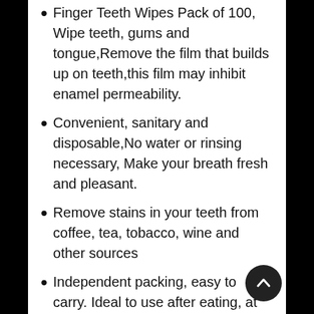Finger Teeth Wipes Pack of 100, Wipe teeth, gums and tongue,Remove the film that builds up on teeth,this film may inhibit enamel permeability.
Convenient, sanitary and disposable,No water or rinsing necessary, Make your breath fresh and pleasant.
Remove stains in your teeth from coffee, tea, tobacco, wine and other sources
Independent packing, easy to carry. Ideal to use after eating, at work, at school, during travel� traveling/camping needs when there’s no place to really clean your teeth.
Not for use by children under 12 years of age,choking hazard for infants and small children.